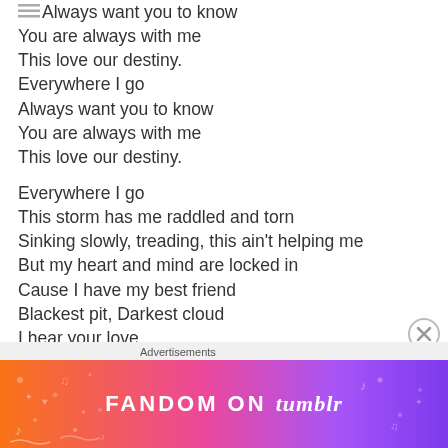Everywhere I go
Always want you to know
You are always with me
This love our destiny.
Everywhere I go
Always want you to know
You are always with me
This love our destiny.

Everywhere I go
This storm has me raddled and torn
Sinking slowly, treading, this ain't helping me
But my heart and mind are locked in
Cause I have my best friend
Blackest pit, Darkest cloud
I hear your love
It's so loud
Advertisements